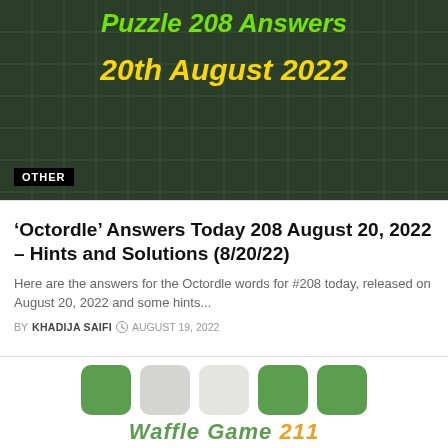[Figure (screenshot): Dark green crossword/word-game grid background with green and yellow italic text reading 'Puzzle 208 Answers' and '20th August 2022'. A black badge in the bottom-left reads 'OTHER'.]
'Octordle' Answers Today 208 August 20, 2022 – Hints and Solutions (8/20/22)
Here are the answers for the Octordle words for #208 today, released on August 20, 2022 and some hints...
BY KHADIJA SAIFI   AUGUST 19, 2022
[Figure (screenshot): Waffle game tile preview showing green, gray and light-colored rounded square tiles in a row, with 'Waffle Game 211' text below in green and orange italic bold font.]